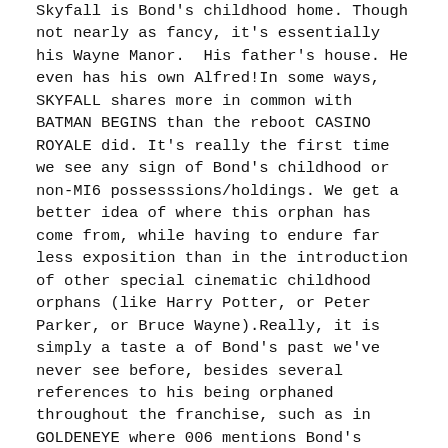Skyfall is Bond's childhood home. Though not nearly as fancy, it's essentially his Wayne Manor.  His father's house. He even has his own Alfred!In some ways, SKYFALL shares more in common with BATMAN BEGINS than the reboot CASINO ROYALE did. It's really the first time we see any sign of Bond's childhood or non-MI6 possesssions/holdings. We get a better idea of where this orphan has come from, while having to endure far less exposition than in the introduction of other special cinematic childhood orphans (like Harry Potter, or Peter Parker, or Bruce Wayne).Really, it is simply a taste a of Bond's past we've never see before, besides several references to his being orphaned throughout the franchise, such as in GOLDENEYE where 006 mentions Bond's parents died in a skiing accident.
SKYFALL is a fun title for Bond fans then, as it sounds like an odd name for a house, just as Bond